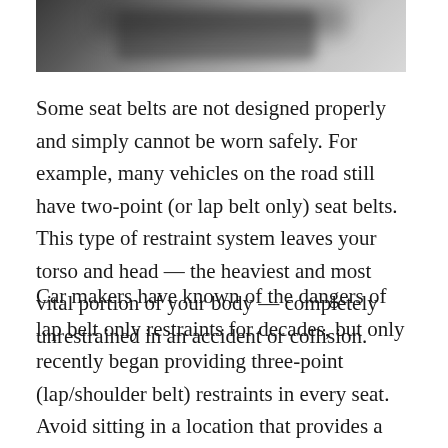[Figure (photo): Blurred motion photograph of a racing car or fast-moving vehicle on a road, shown in grayscale]
Some seat belts are not designed properly and simply cannot be worn safely. For example, many vehicles on the road still have two-point (or lap belt only) seat belts. This type of restraint system leaves your torso and head — the heaviest and most vital portion of your body — completely unrestrained in an accident or collision.
Car makers have known of the dangers of lap belt only restraints for decades, but only recently began providing three-point (lap/shoulder belt) restraints in every seat.  Avoid sitting in a location that provides a lap belt only restraint if at all possible.